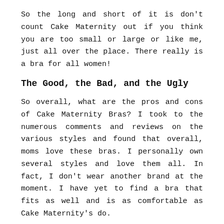So the long and short of it is don't count Cake Maternity out if you think you are too small or large or like me, just all over the place. There really is a bra for all women!
The Good, the Bad, and the Ugly
So overall, what are the pros and cons of Cake Maternity Bras? I took to the numerous comments and reviews on the various styles and found that overall, moms love these bras. I personally own several styles and love them all. In fact, I don't wear another brand at the moment. I have yet to find a bra that fits as well and is as comfortable as Cake Maternity's do.
They are one of the highest-rated nursing bras on the market.